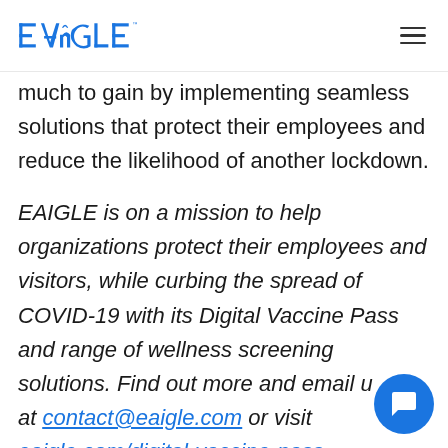EAIGLE
much to gain by implementing seamless solutions that protect their employees and reduce the likelihood of another lockdown.
EAIGLE is on a mission to help organizations protect their employees and visitors, while curbing the spread of COVID-19 with its Digital Vaccine Pass and range of wellness screening solutions. Find out more and email us at contact@eaigle.com or visit eaigle.com/digital-vaccine-pass